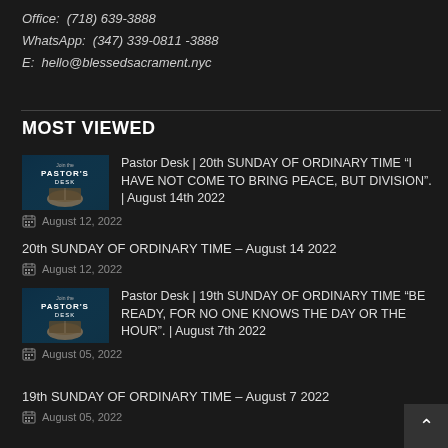Office:  (718) 639-3888
WhatsApp:  (347) 339-0811 -3888
E:  hello@blessedsacrament.nyc
MOST VIEWED
Pastor Desk | 20th SUNDAY OF ORDINARY TIME “I HAVE NOT COME TO BRING PEACE, BUT DIVISION”. | August 14th 2022
August 12, 2022
20th SUNDAY OF ORDINARY TIME – August 14 2022
August 12, 2022
Pastor Desk | 19th SUNDAY OF ORDINARY TIME “BE READY, FOR NO ONE KNOWS THE DAY OR THE HOUR”. | August 7th 2022
August 05, 2022
19th SUNDAY OF ORDINARY TIME – August 7 2022
August 05, 2022